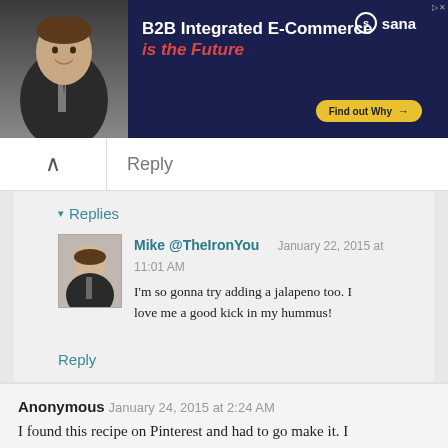[Figure (infographic): Advertisement banner for Sana Commerce: B2B Integrated E-Commerce is the Future. Dark navy background with a man in a suit on the left, Sana logo top right, 'Find out Why' yellow button bottom right.]
Reply
▾ Replies
Mike @TheIronYou   January 22, 2015 at 11:01 AM
I'm so gonna try adding a jalapeno too. I love me a good kick in my hummus!
Reply
Anonymous   January 24, 2015 at 2:24 AM
I found this recipe on Pinterest and had to go make it. I